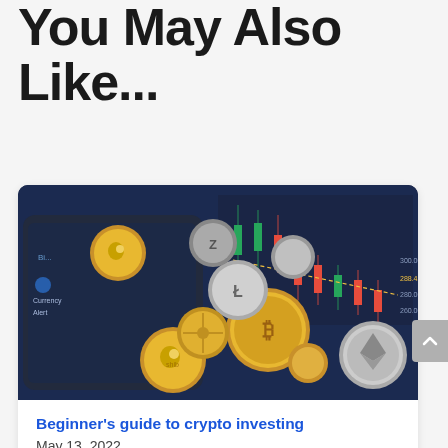You May Also Like...
[Figure (photo): A smartphone displaying a cryptocurrency trading chart with candlestick patterns overlaid with various physical cryptocurrency coins including Bitcoin, Dogecoin, Ethereum, Litecoin, and others in gold and silver finishes.]
Beginner's guide to crypto investing
May 13, 2022